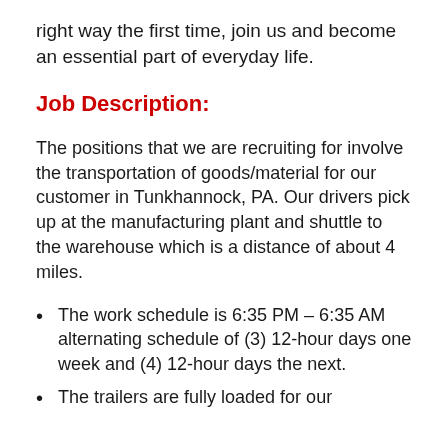right way the first time, join us and become an essential part of everyday life.
Job Description:
The positions that we are recruiting for involve the transportation of goods/material for our customer in Tunkhannock, PA. Our drivers pick up at the manufacturing plant and shuttle to the warehouse which is a distance of about 4 miles.
The work schedule is 6:35 PM – 6:35 AM alternating schedule of (3) 12-hour days one week and (4) 12-hour days the next.
The trailers are fully loaded for our